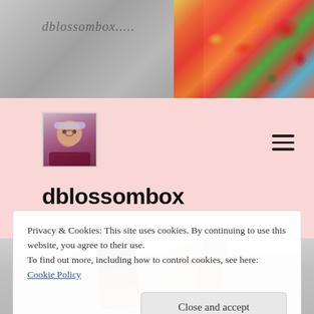[Figure (photo): Header banner with grey textured background on left and colorful floral/abstract painting on right]
dblossombox.....
[Figure (photo): Small profile photo of a woman wearing a decorative headpiece and sunglasses]
dblossombox
[Figure (photo): Flat-lay photo of makeup brushes on a grey surface]
Privacy & Cookies: This site uses cookies. By continuing to use this website, you agree to their use.
To find out more, including how to control cookies, see here:
Cookie Policy
Close and accept